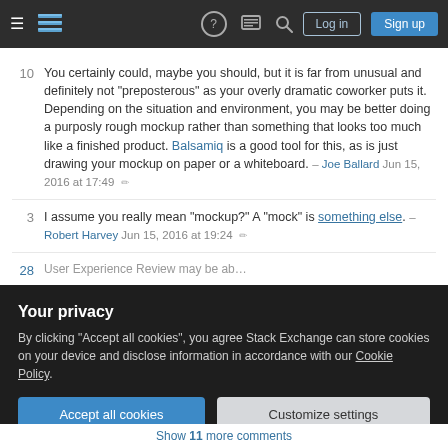Stack Exchange navigation bar with logo, hamburger menu, help, chat, search icons, Log in and Sign up buttons
You certainly could, maybe you should, but it is far from unusual and definitely not "preposterous" as your overly dramatic coworker puts it. Depending on the situation and environment, you may be better doing a purposly rough mockup rather than something that looks too much like a finished product. Balsamiq is a good tool for this, as is just drawing your mockup on paper or a whiteboard. – Joe Ballard Jun 15, 2016 at 17:49
I assume you really mean "mockup?" A "mock" is something else. – Robert Harvey Jun 15, 2016 at 19:24
Your privacy
By clicking "Accept all cookies", you agree Stack Exchange can store cookies on your device and disclose information in accordance with our Cookie Policy.
Accept all cookies
Customize settings
Show 11 more comments